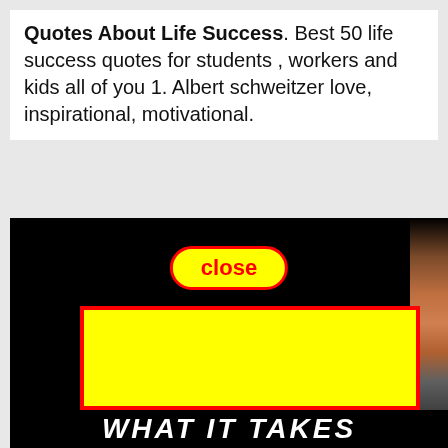Quotes About Life Success. Best 50 life success quotes for students , workers and kids all of you 1. Albert schweitzer love, inspirational, motivational.
[Figure (screenshot): A screenshot of a webpage showing a popup advertisement overlay on a dark background image. The popup has a yellow 'close' button with red border at the top and a large yellow rectangle with a red border in the center. The bottom shows partial white bold italic text on a black background.]